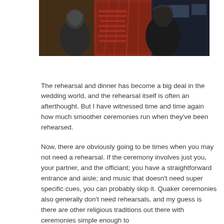[Figure (photo): Two people standing in a dimly lit indoor venue with a decorative red/orange patterned backdrop or carpet visible in the background. One person appears to be wearing a hoodie, the other a dark jacket.]
The rehearsal and dinner has become a big deal in the wedding world, and the rehearsal itself is often an afterthought. But I have witnessed time and time again how much smoother ceremonies run when they've been rehearsed.
Now, there are obviously going to be times when you may not need a rehearsal. If the ceremony involves just you, your partner, and the officiant; you have a straightforward entrance and aisle; and music that doesn't need super specific cues, you can probably skip it. Quaker ceremonies also generally don't need rehearsals, and my guess is there are other religious traditions out there with ceremonies simple enough to